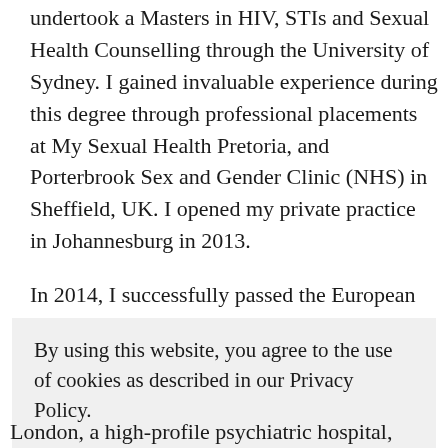undertook a Masters in HIV, STIs and Sexual Health Counselling through the University of Sydney. I gained invaluable experience during this degree through professional placements at My Sexual Health Pretoria, and Porterbrook Sex and Gender Clinic (NHS) in Sheffield, UK. I opened my private practice in Johannesburg in 2013.
In 2014, I successfully passed the European Society of Sexual Medicine/ European Federation of Sexology's certificate to become one of only a few South Africans who
By using this website, you agree to the use of cookies as described in our Privacy Policy.

POPIA Terms and conditions Online @ the couch

OK
London, a high-profile psychiatric hospital, treating